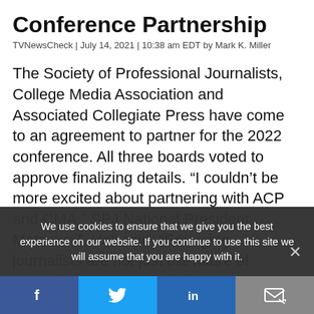Conference Partnership
TVNewsCheck | July 14, 2021 | 10:38 am EDT by Mark K. Miller
The Society of Professional Journalists, College Media Association and Associated Collegiate Press have come to an agreement to partner for the 2022 conference. All three boards voted to approve finalizing details. “I couldn’t be more excited about partnering with ACP and CMA,” SPJ National President Matthew T. Hall said. “Emerging journalists are not just the future of journalism, they’re the […]
We use cookies to ensure that we give you the best experience on our website. If you continue to use this site we will assume that you are happy with it.
f  🐦  in  ✉